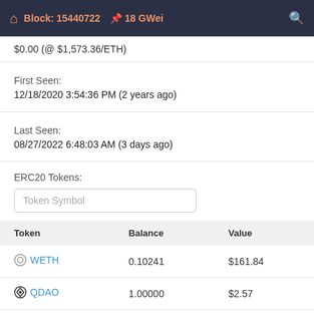Block: 15440722  18 GWei
$0.00 (@ $1,573.36/ETH)
First Seen:
12/18/2020 3:54:36 PM (2 years ago)
Last Seen:
08/27/2022 6:48:03 AM (3 days ago)
ERC20 Tokens:
| Token | Balance | Value |
| --- | --- | --- |
| WETH | 0.10241 | $161.84 |
| QDAO | 1.00000 | $2.57 |